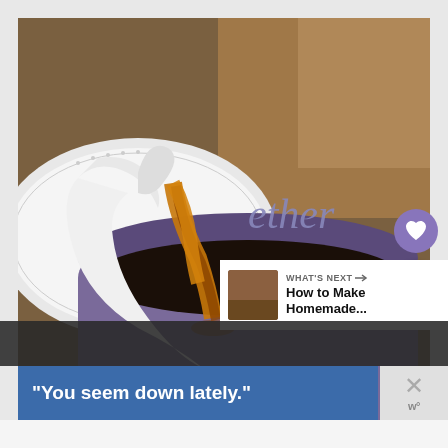[Figure (photo): Photo of coffee being poured from a white creamer/pot into a purple/lavender mug labeled 'ether' (partial text visible), sitting on a saucer, on a granite countertop. The coffee stream is golden-brown, the mug is filled with dark black coffee.]
[Figure (screenshot): UI overlay showing a heart/like button (purple circle), a share button (white circle with share icon), and a 'What's Next' panel with thumbnail and text 'How to Make Homemade...']
WHAT'S NEXT →
How to Make Homemade...
"You seem down lately."
[Figure (logo): Close/dismiss button with X and 'w°' logo text]